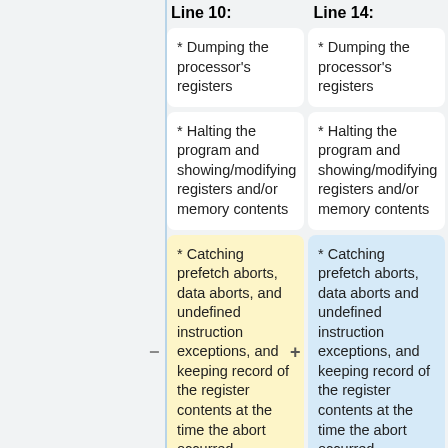Line 10:
Line 14:
* Dumping the processor's registers
* Dumping the processor's registers
* Halting the program and showing/modifying registers and/or memory contents
* Halting the program and showing/modifying registers and/or memory contents
* Catching prefetch aborts, data aborts, and undefined instruction exceptions, and keeping record of the register contents at the time the abort occurred
* Catching prefetch aborts, data aborts and undefined instruction exceptions, and keeping record of the register contents at the time the abort occurred